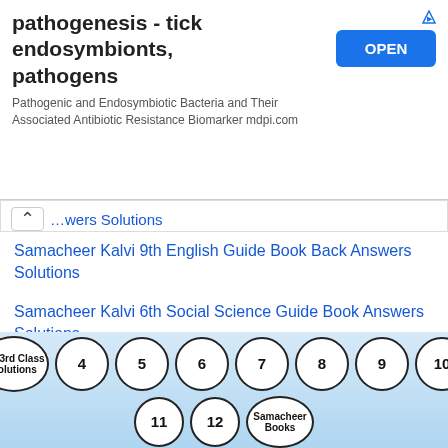[Figure (screenshot): Advertisement banner for pathogenesis tick endosymbionts pathogens with OPEN button]
Answers Solutions
Samacheer Kalvi 9th English Guide Book Back Answers Solutions
Samacheer Kalvi 6th Social Science Guide Book Answers Solutions
Samacheer Kalvi 7th Maths Guide Book Answers Solutions
[Figure (other): Navigation circles: TN 3rd Class Solutions, 4, 5, 6, 7, 8, 9, 10, 11, 12, Samacheer Books]